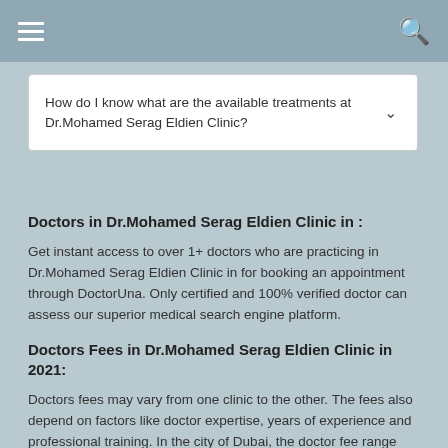How do I know what are the available treatments at Dr.Mohamed Serag Eldien Clinic?
Doctors in Dr.Mohamed Serag Eldien Clinic in :
Get instant access to over 1+ doctors who are practicing in Dr.Mohamed Serag Eldien Clinic in for booking an appointment through DoctorUna. Only certified and 100% verified doctor can assess our superior medical search engine platform.
Doctors Fees in Dr.Mohamed Serag Eldien Clinic in 2021:
Doctors fees may vary from one clinic to the other. The fees also depend on factors like doctor expertise, years of experience and professional training. In the city of Dubai, the doctor fee range falls between AED 100 -